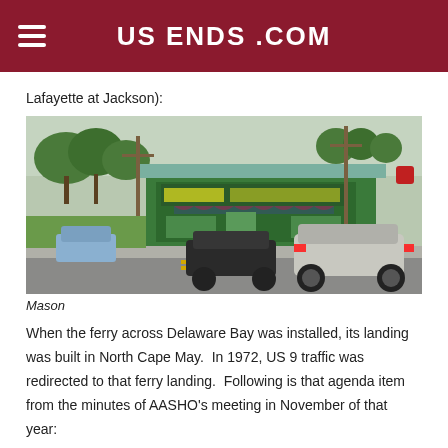US ENDS .COM
Lafayette at Jackson):
[Figure (photo): Street-level photograph of a green-painted building labeled 'Collier's Liquor Store' at an intersection, with cars on the road and trees in the background. Taken in a small American town.]
Mason
When the ferry across Delaware Bay was installed, its landing was built in North Cape May.  In 1972, US 9 traffic was redirected to that ferry landing.  Following is that agenda item from the minutes of AASHO's meeting in November of that year: